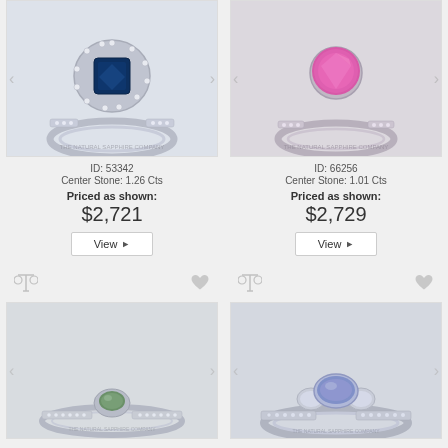[Figure (photo): Teal sapphire halo engagement ring on white background, The Natural Sapphire Company watermark]
ID: 53342
Center Stone: 1.26 Cts
Priced as shown:
$2,721
View ▶
[Figure (photo): Pink sapphire solitaire engagement ring on white background, The Natural Sapphire Company watermark]
ID: 66256
Center Stone: 1.01 Cts
Priced as shown:
$2,729
View ▶
[Figure (photo): Green sapphire solitaire engagement ring on light gray background]
[Figure (photo): Blue/purple sapphire three-stone diamond engagement ring on light gray background]